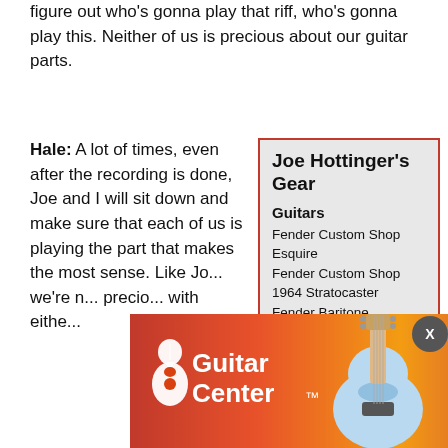figure out who's gonna play that riff, who's gonna play this. Neither of us is precious about our guitar parts.
Hale: A lot of times, even after the recording is done, Joe and I will sit down and make sure that each of us is playing the part that makes the most sense. Like Jo... we're n... precio... with other
Joe Hottinger's Gear
Guitars
Fender Custom Shop Esquire
Fender Custom Shop 1964 Stratocaster
Fender Baritone Telecaster
Fender Master Built Telecaster
Gibson Custom Firebird
Gibson Custom Flying V
Gibson Freddie King 1960 ES-345
Gibson Custom goldtop Les Paul (long scale)
[Figure (logo): Guitar Center advertisement banner with logo and guitar image]